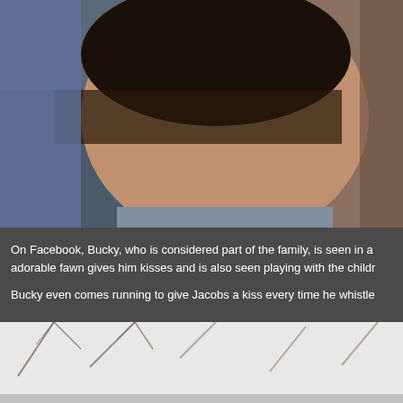[Figure (photo): Close-up photo of the back of a person's head/hair, appears to be a man with short dark hair, another person partially visible on right side]
On Facebook, Bucky, who is considered part of the family, is seen in a adorable fawn gives him kisses and is also seen playing with the childr
Bucky even comes running to give Jacobs a kiss every time he whistle
[Figure (photo): Partially visible outdoor scene with bare trees against a light sky, with a 'Read More' button overlay]
You May Like
[Figure (photo): Close-up photo of hands holding money/hundred dollar bills, with stacks of cash visible]